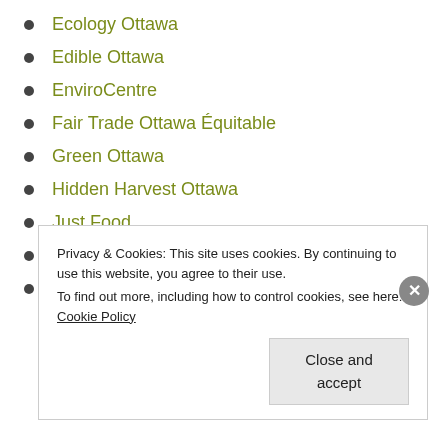Ecology Ottawa
Edible Ottawa
EnviroCentre
Fair Trade Ottawa Équitable
Green Ottawa
Hidden Harvest Ottawa
Just Food
Just Food Buy Local Food Guide
Look and Listen / Edible Wild
Privacy & Cookies: This site uses cookies. By continuing to use this website, you agree to their use.
To find out more, including how to control cookies, see here: Cookie Policy
Close and accept